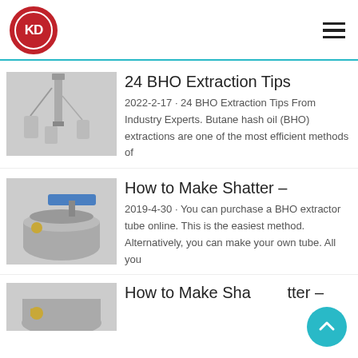[Figure (logo): KD logo: red circle with white border and white KD letters]
[Figure (illustration): Hamburger menu icon (three horizontal lines)]
[Figure (photo): BHO extraction equipment - tall stainless steel column and collection vessels]
24 BHO Extraction Tips
2022-2-17 · 24 BHO Extraction Tips From Industry Experts. Butane hash oil (BHO) extractions are one of the most efficient methods of
[Figure (photo): BHO extractor - stainless steel collection vessel with blue ball valve on top]
How to Make Shatter –
2019-4-30 · You can purchase a BHO extractor tube online. This is the easiest method. Alternatively, you can make your own tube. All you
[Figure (photo): Partial view of BHO equipment at bottom of page]
How to Make Shatter –